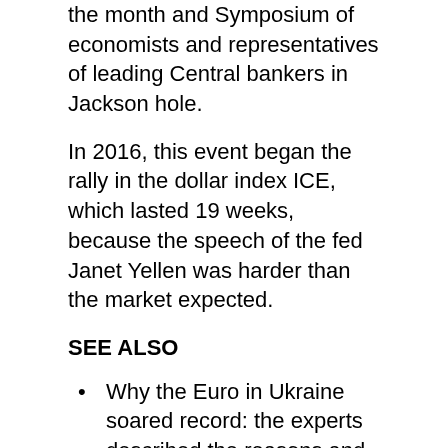the month and Symposium of economists and representatives of leading Central bankers in Jackson hole.
In 2016, this event began the rally in the dollar index ICE, which lasted 19 weeks, because the speech of the fed Janet Yellen was harder than the market expected.
SEE ALSO
Why the Euro in Ukraine soared record: the experts described the reasons and given the forecast
This year, according to Financial Times, the impact of the Symposium can be even more substantial, but this time the headliner is expected to be the head of the European Central Bank (ECB), Mario Draghi, not Yellen.